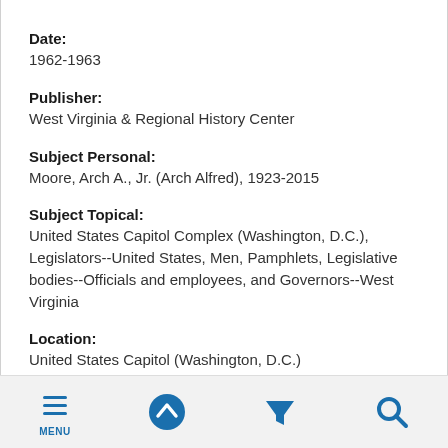Date: 1962-1963
Publisher: West Virginia & Regional History Center
Subject Personal: Moore, Arch A., Jr. (Arch Alfred), 1923-2015
Subject Topical: United States Capitol Complex (Washington, D.C.), Legislators--United States, Men, Pamphlets, Legislative bodies--Officials and employees, and Governors--West Virginia
Location: United States Capitol (Washington, D.C.)
[Figure (screenshot): Mobile app bottom navigation bar with four icons: Menu (three horizontal lines), Up arrow (circle with chevron up), Filter (funnel icon), and Search (magnifying glass). All icons are blue.]